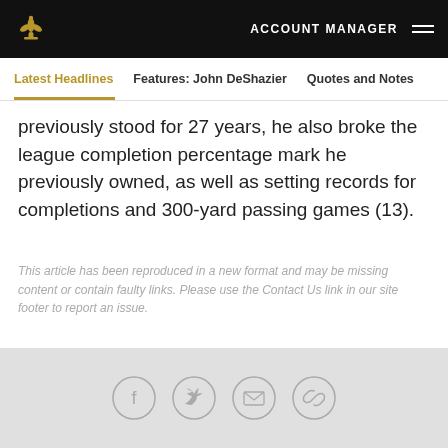ACCOUNT MANAGER
Latest Headlines | Features: John DeShazier | Quotes and Notes
previously stood for 27 years, he also broke the league completion percentage mark he previously owned, as well as setting records for completions and 300-yard passing games (13).
This article has been reproduced in a new format and may be missing content or contain faulty links. Please use the Contact Us link in our site footer to report an issue.
Social icons: Facebook, Twitter, Email, Link